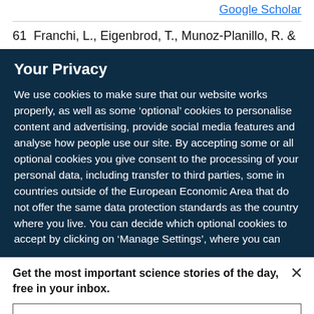Google Scholar
61  Franchi, L., Eigenbrod, T., Munoz-Planillo, R. &
Your Privacy
We use cookies to make sure that our website works properly, as well as some ‘optional’ cookies to personalise content and advertising, provide social media features and analyse how people use our site. By accepting some or all optional cookies you give consent to the processing of your personal data, including transfer to third parties, some in countries outside of the European Economic Area that do not offer the same data protection standards as the country where you live. You can decide which optional cookies to accept by clicking on ‘Manage Settings’, where you can
Get the most important science stories of the day, free in your inbox.
Sign up for Nature Briefing